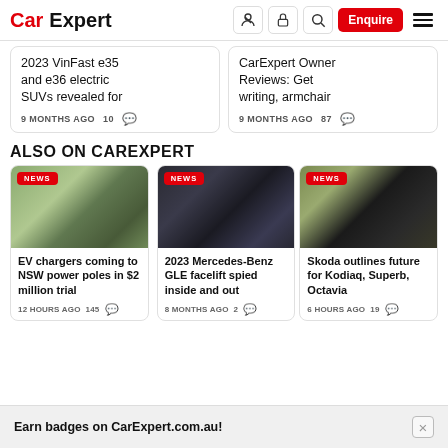CarExpert — Enquire
2023 VinFast e35 and e36 electric SUVs revealed for — 9 MONTHS AGO  10
CarExpert Owner Reviews: Get writing, armchair — 9 MONTHS AGO  87
ALSO ON CAREXPERT
[Figure (photo): EV charger attached to NSW power pole street scene]
EV chargers coming to NSW power poles in $2 million trial — 12 HOURS AGO  145
[Figure (photo): 2023 Mercedes-Benz GLE facelift spy shot]
2023 Mercedes-Benz GLE facelift spied inside and out — 8 MONTHS AGO  2
[Figure (photo): Skoda badge close-up on green vehicle]
Skoda outlines future for Kodiaq, Superb, Octavia — 6 HOURS AGO  19
Earn badges on CarExpert.com.au!